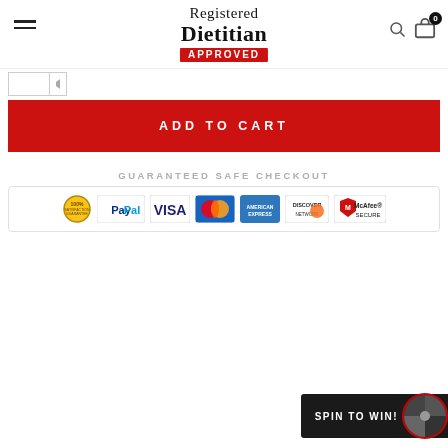[Figure (logo): Registered Dietitian Approved logo with hamburger menu, search icon, and cart icon (badge: 0)]
[Figure (screenshot): Quantity selector input box with up/down arrows]
ADD TO CART
GUARANTEED SAFE CHECKOUT
[Figure (infographic): Safe checkout payment icons: 100% Satisfaction Guarantee seal, PayPal, VISA, Mastercard, American Express, Discover Network, McAfee Secure]
[Figure (infographic): Spin to Win promotional widget with spinning wheel graphic]